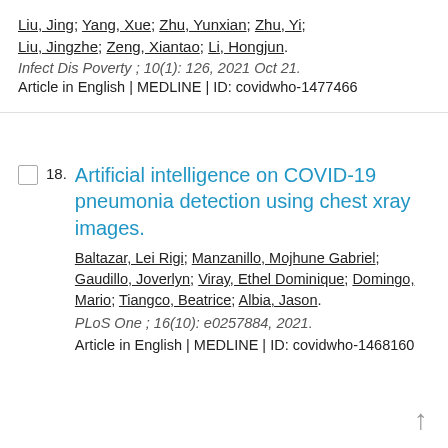Liu, Jing; Yang, Xue; Zhu, Yunxian; Zhu, Yi; Liu, Jingzhe; Zeng, Xiantao; Li, Hongjun. Infect Dis Poverty ; 10(1): 126, 2021 Oct 21. Article in English | MEDLINE | ID: covidwho-1477466
Artificial intelligence on COVID-19 pneumonia detection using chest xray images.
Baltazar, Lei Rigi; Manzanillo, Mojhune Gabriel; Gaudillo, Joverlyn; Viray, Ethel Dominique; Domingo, Mario; Tiangco, Beatrice; Albia, Jason. PLoS One ; 16(10): e0257884, 2021. Article in English | MEDLINE | ID: covidwho-1468160